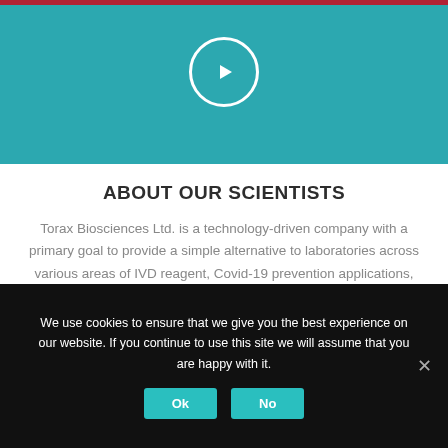[Figure (other): Teal/turquoise video thumbnail area with a white circle play button icon in the center]
ABOUT OUR SCIENTISTS
Torax Biosciences Ltd. is a technology-driven company with a primary goal to provide a simple alternative to laboratories across various areas of IVD reagent, Covid-19 prevention applications, using technical expertise, innovation and real solutions for day to day problems.
We use cookies to ensure that we give you the best experience on our website. If you continue to use this site we will assume that you are happy with it.